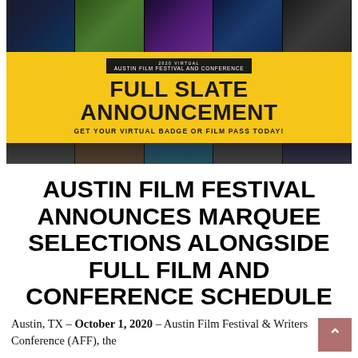[Figure (photo): Austin Film Festival 2020 Virtual banner with film stills across the top, yellow section with 'FULL SLATE ANNOUNCEMENT' and 'GET YOUR VIRTUAL BADGE OR FILM PASS TODAY!' text, and portraits of five people across the bottom]
AUSTIN FILM FESTIVAL ANNOUNCES MARQUEE SELECTIONS ALONGSIDE FULL FILM AND CONFERENCE SCHEDULE
Austin, TX – October 1, 2020 – Austin Film Festival & Writers Conference (AFF), the